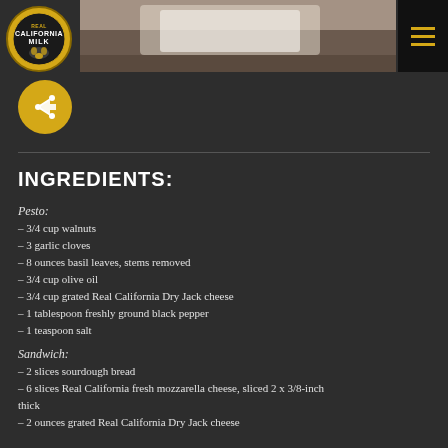[Figure (photo): Food photo at top of page showing sandwich or bread on a plate, partially visible]
[Figure (logo): Real California Milk circular logo in gold and black]
[Figure (other): Yellow circular share/export button icon]
INGREDIENTS:
Pesto:
– 3/4 cup walnuts
– 3 garlic cloves
– 8 ounces basil leaves, stems removed
– 3/4 cup olive oil
– 3/4 cup grated Real California Dry Jack cheese
– 1 tablespoon freshly ground black pepper
– 1 teaspoon salt
Sandwich:
– 2 slices sourdough bread
– 6 slices Real California fresh mozzarella cheese, sliced 2 x 3/8-inch thick
– 2 ounces grated Real California Dry Jack cheese